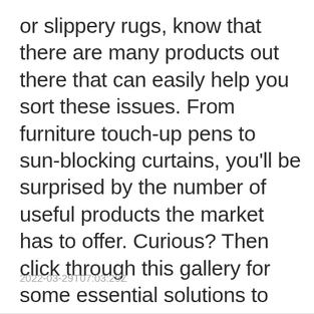or slippery rugs, know that there are many products out there that can easily help you sort these issues. From furniture touch-up pens to sun-blocking curtains, you'll be surprised by the number of useful products the market has to offer. Curious? Then click through this gallery for some essential solutions to annoying home issues.
2022-03-29T07:03:29Z